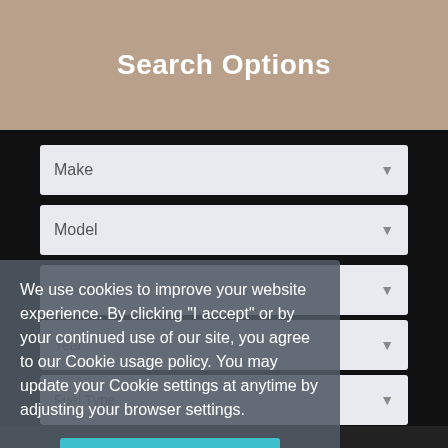Search Options
[Figure (screenshot): Web form with dropdown fields: Make, Model, Vehicle Type, Year, Fuel Type, Price From, To £10,000]
We use cookies to improve your website experience. By clicking "I accept" or by your continued use of our site, you agree to our Cookie usage policy. You may update your Cookie settings at anytime by adjusting your browser settings.
I accept